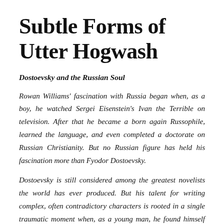Subtle Forms of Utter Hogwash
Dostoevsky and the Russian Soul
Rowan Williams' fascination with Russia began when, as a boy, he watched Sergei Eisenstein's Ivan the Terrible on television. After that he became a born again Russophile, learned the language, and even completed a doctorate on Russian Christianity. But no Russian figure has held his fascination more than Fyodor Dostoevsky.
Dostoevsky is still considered among the greatest novelists the world has ever produced. But his talent for writing complex, often contradictory characters is rooted in a single traumatic moment when, as a young man, he found himself before a firing squad. The